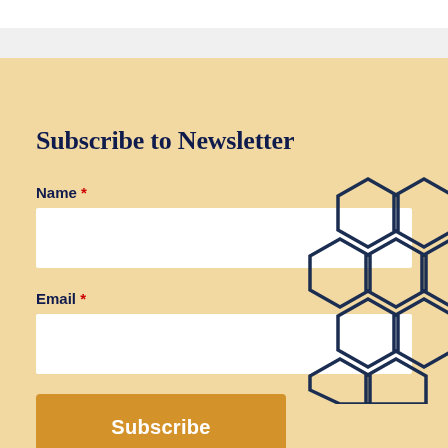Subscribe to Newsletter
Name *
Email *
Subscribe